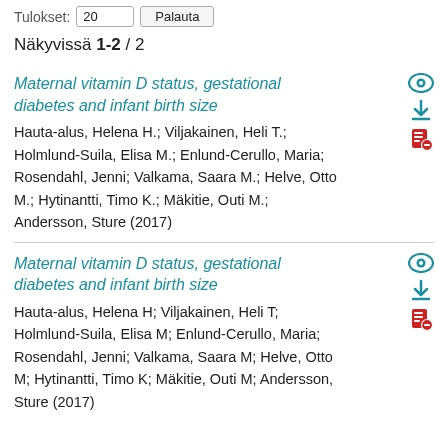Tulokset: 20 ▾  Palauta
Näkyvissä 1-2 / 2
Maternal vitamin D status, gestational diabetes and infant birth size
Hauta-alus, Helena H.; Viljakainen, Heli T.; Holmlund-Suila, Elisa M.; Enlund-Cerullo, Maria; Rosendahl, Jenni; Valkama, Saara M.; Helve, Otto M.; Hytinantti, Timo K.; Mäkitie, Outi M.; Andersson, Sture (2017)
Maternal vitamin D status, gestational diabetes and infant birth size
Hauta-alus, Helena H; Viljakainen, Heli T; Holmlund-Suila, Elisa M; Enlund-Cerullo, Maria; Rosendahl, Jenni; Valkama, Saara M; Helve, Otto M; Hytinantti, Timo K; Mäkitie, Outi M; Andersson, Sture (2017)